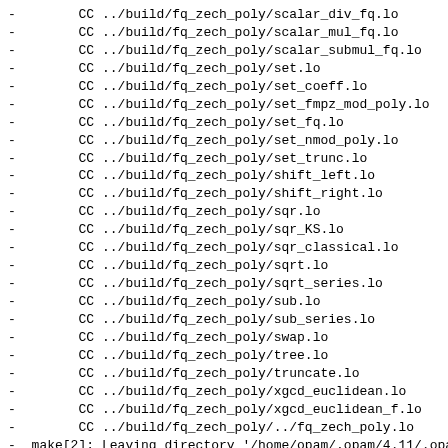-      CC   ../build/fq_zech_poly/scalar_div_fq.lo
-      CC   ../build/fq_zech_poly/scalar_mul_fq.lo
-      CC   ../build/fq_zech_poly/scalar_submul_fq.lo
-      CC   ../build/fq_zech_poly/set.lo
-      CC   ../build/fq_zech_poly/set_coeff.lo
-      CC   ../build/fq_zech_poly/set_fmpz_mod_poly.lo
-      CC   ../build/fq_zech_poly/set_fq.lo
-      CC   ../build/fq_zech_poly/set_nmod_poly.lo
-      CC   ../build/fq_zech_poly/set_trunc.lo
-      CC   ../build/fq_zech_poly/shift_left.lo
-      CC   ../build/fq_zech_poly/shift_right.lo
-      CC   ../build/fq_zech_poly/sqr.lo
-      CC   ../build/fq_zech_poly/sqr_KS.lo
-      CC   ../build/fq_zech_poly/sqr_classical.lo
-      CC   ../build/fq_zech_poly/sqrt.lo
-      CC   ../build/fq_zech_poly/sqrt_series.lo
-      CC   ../build/fq_zech_poly/sub.lo
-      CC   ../build/fq_zech_poly/sub_series.lo
-      CC   ../build/fq_zech_poly/swap.lo
-      CC   ../build/fq_zech_poly/tree.lo
-      CC   ../build/fq_zech_poly/truncate.lo
-      CC   ../build/fq_zech_poly/xgcd_euclidean.lo
-      CC   ../build/fq_zech_poly/xgcd_euclidean_f.lo
-      CC   ../build/fq_zech_poly/../fq_zech_poly.lo
- make[2]: Leaving directory '/home/opam/.opam/4.11/.opam...
- make[2]: Entering directory '/home/opam/.opam/4.11/.opa...
-      CC   ../build/fq_zech_poly_factor/clear.lo
-      CC   ../build/fq_zech_poly_factor/concat.lo
-      CC   ../build/fq_zech_poly_factor/factor.lo
-      CC   ../build/fq_zech_poly_factor/factor_berlekamp...